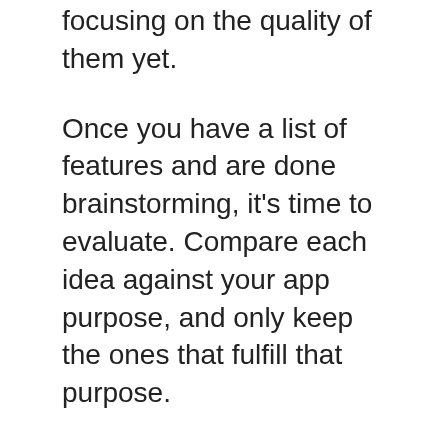focusing on the quality of them yet.
Once you have a list of features and are done brainstorming, it's time to evaluate. Compare each idea against your app purpose, and only keep the ones that fulfill that purpose.
Remember, you want something small and minimal. You can always come back later and expand the feature list of the app, after the first version is built.
With clients, I like to frame this as a minimal phase one. The first version won't be perfect, but it will give clients some value sooner by